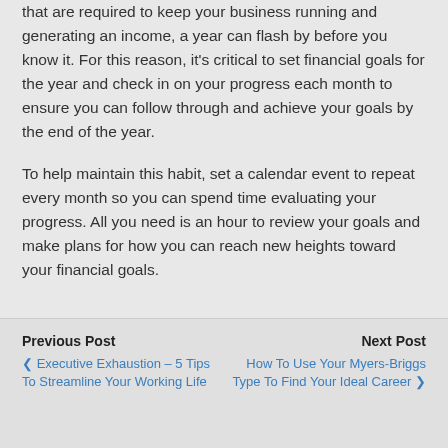that are required to keep your business running and generating an income, a year can flash by before you know it. For this reason, it's critical to set financial goals for the year and check in on your progress each month to ensure you can follow through and achieve your goals by the end of the year.
To help maintain this habit, set a calendar event to repeat every month so you can spend time evaluating your progress. All you need is an hour to review your goals and make plans for how you can reach new heights toward your financial goals.
Previous Post | Executive Exhaustion – 5 Tips To Streamline Your Working Life | Next Post | How To Use Your Myers-Briggs Type To Find Your Ideal Career